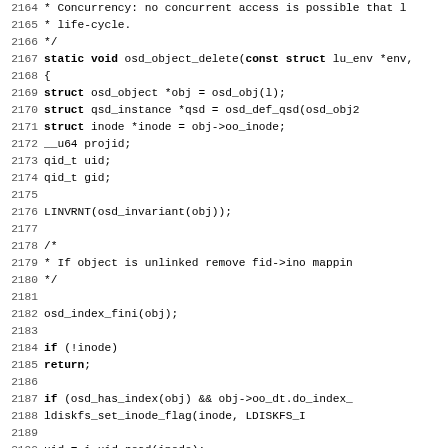Source code listing lines 2164-2195, showing osd_object_delete function in C